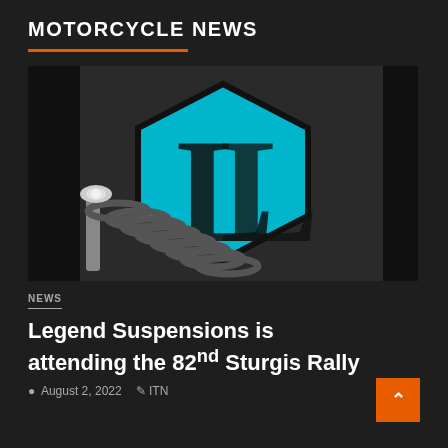MOTORCYCLE NEWS
[Figure (photo): Close-up photo of a motorcycle suspension coilover with a teal/cyan hexagonal Legend Suspensions logo (stylized 'L') on a dark background]
NEWS
Legend Suspensions is attending the 82nd Sturgis Rally
August 2, 2022   ITN